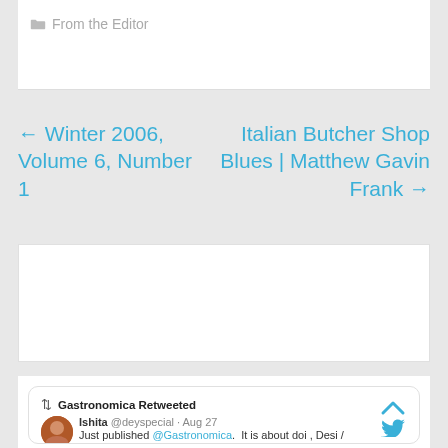From the Editor
← Winter 2006, Volume 6, Number 1
Italian Butcher Shop Blues | Matthew Gavin Frank →
[Figure (other): Empty white advertisement/content box]
[Figure (screenshot): Twitter embed: Gastronomica Retweeted. Ishita @deyspecial · Aug 27 — Just published @Gastronomica. It is about doi , Desi / indigenous cow breeds ...]